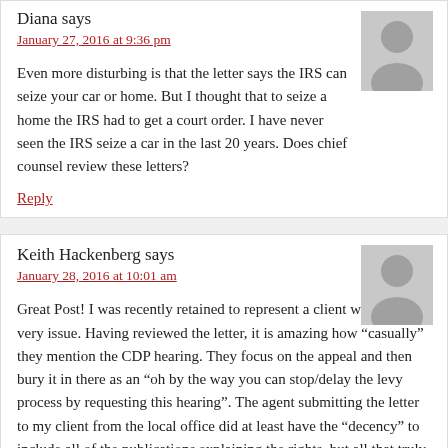Diana says
January 27, 2016 at 9:36 pm
Even more disturbing is that the letter says the IRS can seize your car or home. But I thought that to seize a home the IRS had to get a court order. I have never seen the IRS seize a car in the last 20 years. Does chief counsel review these letters?
Reply
Keith Hackenberg says
January 28, 2016 at 10:01 am
Great Post! I was recently retained to represent a client with this very issue. Having reviewed the letter, it is amazing how “casually” they mention the CDP hearing. They focus on the appeal and then bury it in there as an “oh by the way you can stop/delay the levy process by requesting this hearing”. The agent submitting the letter to my client from the local office did at least have the “decency” to include all of the publications explaining the rights, but all that truly did was provide more confusion to my client (a small business owner).